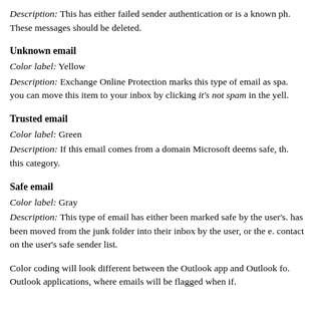Description: This has either failed sender authentication or is a known ph. These messages should be deleted.
Unknown email
Color label: Yellow
Description: Exchange Online Protection marks this type of email as spa. you can move this item to your inbox by clicking it's not spam in the yell.
Trusted email
Color label: Green
Description: If this email comes from a domain Microsoft deems safe, th. this category.
Safe email
Color label: Gray
Description: This type of email has either been marked safe by the user's. has been moved from the junk folder into their inbox by the user, or the e. contact on the user's safe sender list.
Color coding will look different between the Outlook app and Outlook fo. Outlook applications, where emails will be flagged when if.